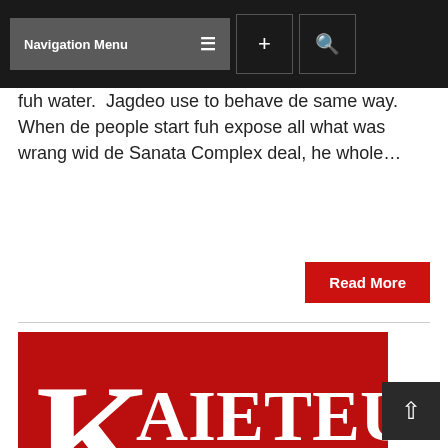Navigation Menu
fuh water.  Jagdeo use to behave de same way. When de people start fuh expose all what was wrang wid de Sanata Complex deal, he whole…
Read More
[Figure (logo): Kaieteur News logo — white serif text on dark red background]
Returning mom, daughter